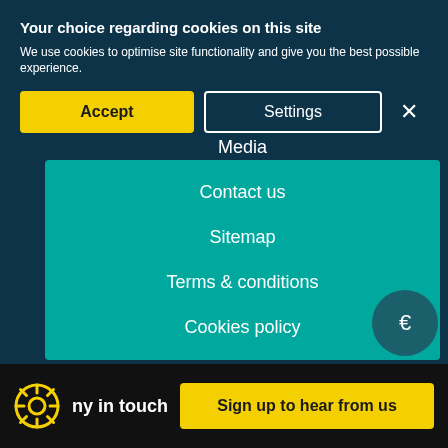Your choice regarding cookies on this site
We use cookies to optimise site functionality and give you the best possible experience.
Accept | Settings | X
Media
Contact us
Sitemap
Terms & conditions
Cookies policy
Privacy policy
ny in touch
Sign up to hear from us